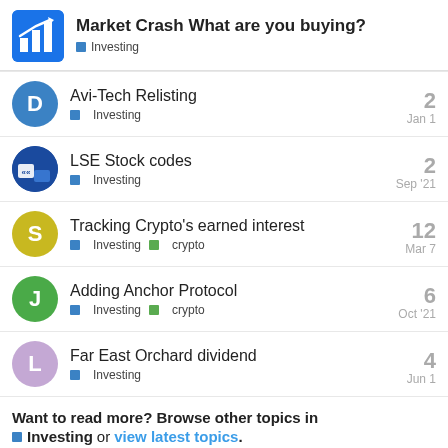Market Crash What are you buying? — Investing
Avi-Tech Relisting | Investing | 2 replies | Jan 1
LSE Stock codes | Investing | 2 replies | Sep '21
Tracking Crypto's earned interest | Investing crypto | 12 replies | Mar 7
Adding Anchor Protocol | Investing crypto | 6 replies | Oct '21
Far East Orchard dividend | Investing | 4 replies | Jun 1
Want to read more? Browse other topics in Investing or view latest topics.